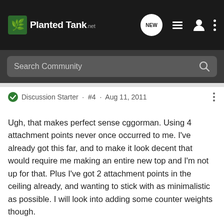PlantedTank - Discussion forum header with navigation icons
Search Community
Discussion Starter · #4 · Aug 11, 2011
Ugh, that makes perfect sense cggorman. Using 4 attachment points never once occurred to me. I've already got this far, and to make it look decent that would require me making an entire new top and I'm not up for that. Plus I've got 2 attachment points in the ceiling already, and wanting to stick with as minimalistic as possible. I will look into adding some counter weights though.
Thanks Kathy, but my cord isn't long enough to go up to the hooks and then snake around to an outlet. I don't think my wife would like for me to put an outlet in the ceiling just for my light for the 5 gallon lol.